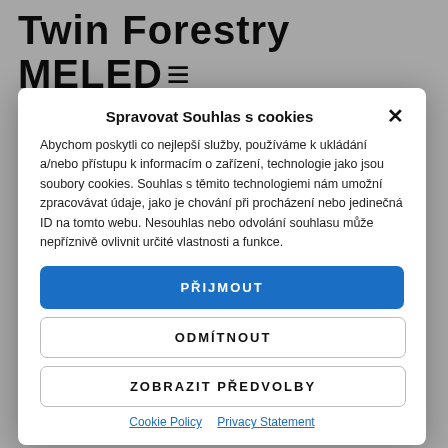Twin Forestry MELED
It guaranties extra pull force and brilliant accessibility. Even without the use of tracks and chains, it adds traction to the
Spravovat Souhlas s cookies
Abychom poskytli co nejlepší služby, používáme k ukládání a/nebo přístupu k informacím o zařízení, technologie jako jsou soubory cookies. Souhlas s těmito technologiemi nám umožní zpracovávat údaje, jako je chování při procházení nebo jedinečná ID na tomto webu. Nesouhlas nebo odvolání souhlasu může nepříznivě ovlivnit určité vlastnosti a funkce.
PŘIJMOUT
ODMÍTNOUT
ZOBRAZIT PŘEDVOLBY
Cookie Policy  Privacy Statement